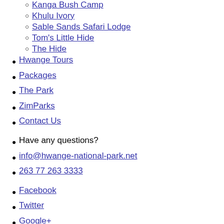Kanga Bush Camp
Khulu Ivory
Sable Sands Safari Lodge
Tom's Little Hide
The Hide
Hwange Tours
Packages
The Park
ZimParks
Contact Us
Have any questions?
info@hwange-national-park.net
263 77 263 3333
Facebook
Twitter
Google+
LinkedIn
Search for:
[Figure (logo): Falcon Safaris logo — golden circle with falcon head graphic and 'FALCON SAFARIS' text, with 'Represented By' label in orange/gold italic text]